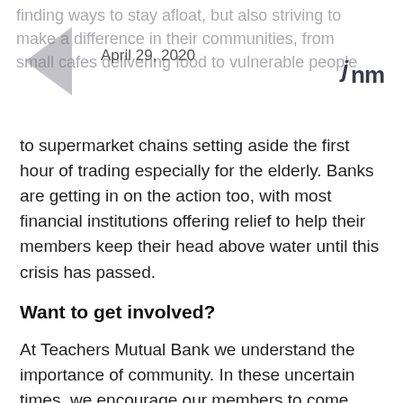finding ways to stay afloat, but also striving to make a difference in their communities, from small cafes delivering food to vulnerable people
April 29, 2020
to supermarket chains setting aside the first hour of trading especially for the elderly. Banks are getting in on the action too, with most financial institutions offering relief to help their members keep their head above water until this crisis has passed.
Want to get involved?
At Teachers Mutual Bank we understand the importance of community. In these uncertain times, we encourage our members to come together and support one another.
If you would like to join the global caremongering movement, here are three ways to get started: We're all going through the same thing, so please